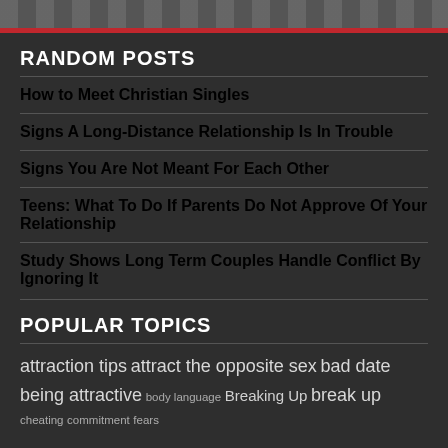RANDOM POSTS
How to Meet Christian Singles
Signs A Long-Distance Relationship Is In Trouble
Signs You Are Not Meant For Each Other
Teens: What To Do If Parents Do Not Approve Of Your Relationship
Study Shows Long Term Couples Handle Conflict By Ignoring It
POPULAR TOPICS
attraction tips attract the opposite sex bad date being attractive body language Breaking Up break up cheating commitment fears